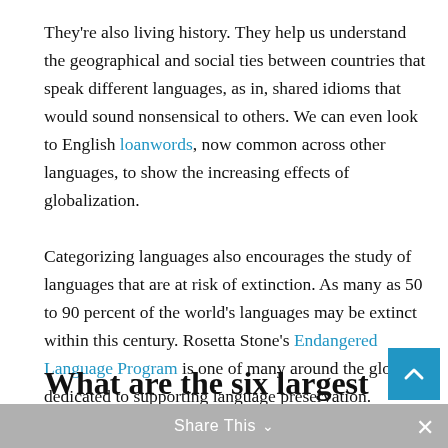They're also living history. They help us understand the geographical and social ties between countries that speak different languages, as in, shared idioms that would sound nonsensical to others. We can even look to English loanwords, now common across other languages, to show the increasing effects of globalization.
Categorizing languages also encourages the study of languages that are at risk of extinction. As many as 50 to 90 percent of the world's languages may be extinct within this century. Rosetta Stone's Endangered Language Program is one of many around the globe dedicated to supporting language preservation.
What are the six largest